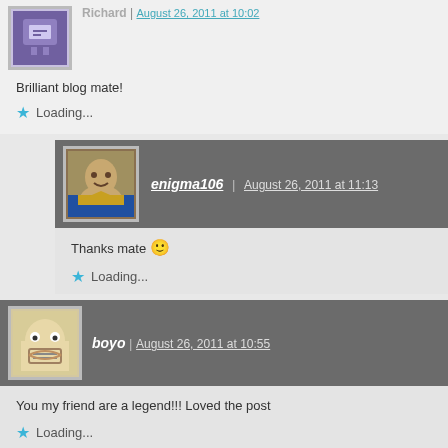Brilliant blog mate!
Loading...
enigma106 | August 26, 2011 at 11:13
Thanks mate 🙂
Loading...
boyo | August 26, 2011 at 10:55
You my friend are a legend!!! Loved the post
Loading...